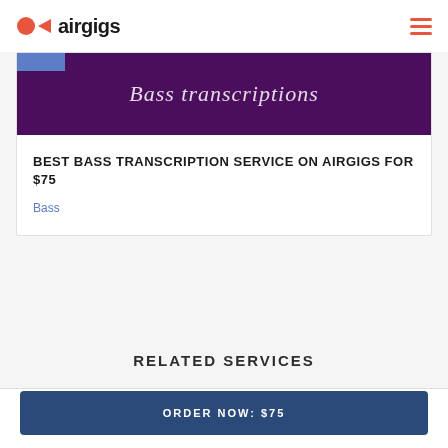airgigs
[Figure (screenshot): Purple banner with italic script text reading 'Bass transcriptions' and a small blue bar in the top left corner]
BEST BASS TRANSCRIPTION SERVICE ON AIRGIGS FOR $75
Bass
RELATED SERVICES
ORDER NOW: $75